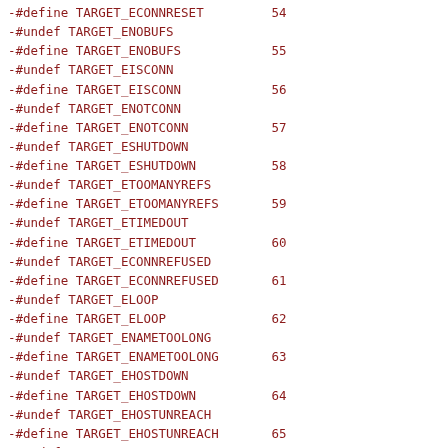-#define TARGET_ECONNRESET         54
-#undef TARGET_ENOBUFS
-#define TARGET_ENOBUFS            55
-#undef TARGET_EISCONN
-#define TARGET_EISCONN            56
-#undef TARGET_ENOTCONN
-#define TARGET_ENOTCONN           57
-#undef TARGET_ESHUTDOWN
-#define TARGET_ESHUTDOWN          58
-#undef TARGET_ETOOMANYREFS
-#define TARGET_ETOOMANYREFS       59
-#undef TARGET_ETIMEDOUT
-#define TARGET_ETIMEDOUT          60
-#undef TARGET_ECONNREFUSED
-#define TARGET_ECONNREFUSED       61
-#undef TARGET_ELOOP
-#define TARGET_ELOOP              62
-#undef TARGET_ENAMETOOLONG
-#define TARGET_ENAMETOOLONG       63
-#undef TARGET_EHOSTDOWN
-#define TARGET_EHOSTDOWN          64
-#undef TARGET_EHOSTUNREACH
-#define TARGET_EHOSTUNREACH       65
-#undef TARGET_ENOTEMPTY
-#define TARGET_ENOTEMPTY          66
-/* Unused                         67 */
-#undef TARGET_EUSERS
-#define TARGET_EUSERS             68
-#undef TARGET_EDQUOT
-#define TARGET_EDQUOT             69